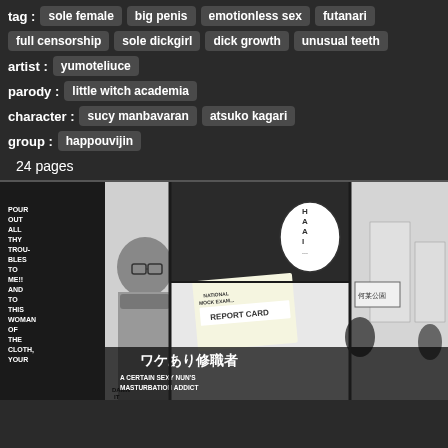tag :
sole female
big penis
emotionless sex
futanari
full censorship
sole dickgirl
dick growth
unusual teeth
artist :  yumoteliuce
parody :  little witch academia
character :  sucy manbavaran  atsuko kagari
group :  happouvijin
24 pages
[Figure (illustration): Black and white manga/comic book cover page showing a character with glasses and a scarf, manga panels with speech bubbles saying 'H A A I...', a report card, Japanese text, and the title 'A CERTAIN SEXY NUN'S MASTURBATION ADDICT' with Japanese characters]